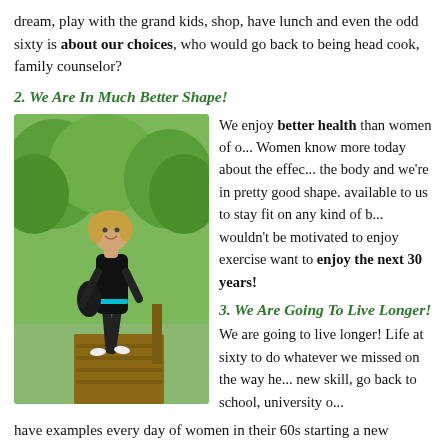dream, play with the grand kids, shop, have lunch and even the odd sixty is about our choices, who would go back to being head cook, family counselor?
2. We Are In Much Better Shape!
[Figure (photo): Woman in black athletic wear walking/jogging outdoors on a path surrounded by green trees and grass, smiling, carrying a dark bag.]
We enjoy better health than women of o... Women know more today about the effec... the body and we're in pretty good shape. available to us to stay fit on any kind of b... wouldn't be motivated to enjoy exercise want to enjoy the next 30 years!
3. We Are Going To Live Longer!
We are going to live longer! Life at sixty to do whatever we missed on the way he... new skill, go back to school, university o...
have examples every day of women in their 60s starting a new busin...